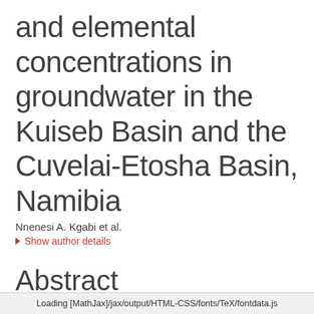and elemental concentrations in groundwater in the Kuiseb Basin and the Cuvelai-Etosha Basin, Namibia
Nnenesi A. Kgabi et al.
▶ Show author details
Abstract
Loading [MathJax]/jax/output/HTML-CSS/fonts/TeX/fontdata.js